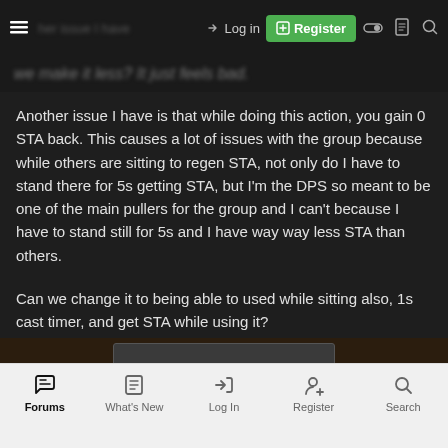Navigation bar with hamburger menu, Log in, Register, and search icons
Another issue I have is that while doing this action, you gain 0 STA back. This causes a lot of issues with the group because while others are sitting to regen STA, not only do I have to stand there for 5s getting STA, but I'm the DPS so meant to be one of the main pullers for the group and I can't because I have to stand still for 5s and I have way way less STA than others.
Can we change it to being able to used while sitting also, 1s cast timer, and get STA while using it?
I don't feel like any of these break the use of the buff, or even make it more powerful, just removes the annoying factor to it.
Forums | What's New | Log In | Register | Search